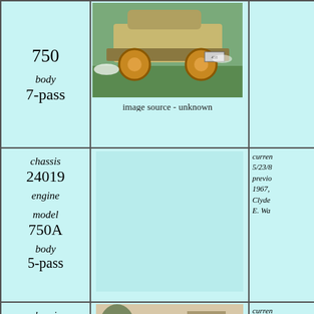| Info | Image | Owner |
| --- | --- | --- |
| 750
body 7-pass | image source - unknown |  |
| chassis 24019
engine
model 750A
body 5-pass |  | curren 5/23/8 previo 1967, Clyde E. Wa |
| chassis 24021
engine
model 750B | [vintage car photo] | curren US, W previo Carl A 1984, Don R Mayna Georg |